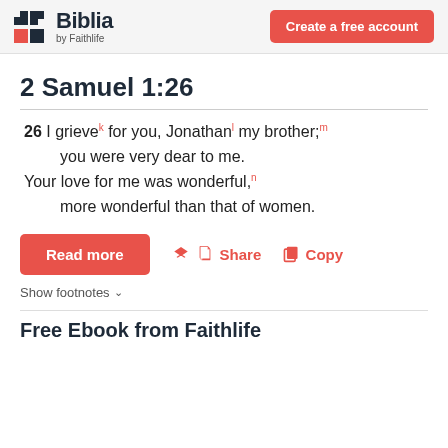Biblia by Faithlife | Create a free account
2 Samuel 1:26
26 I grieve for you, Jonathan my brother; you were very dear to me. Your love for me was wonderful, more wonderful than that of women.
Read more | Share | Copy
Show footnotes
Free Ebook from Faithlife